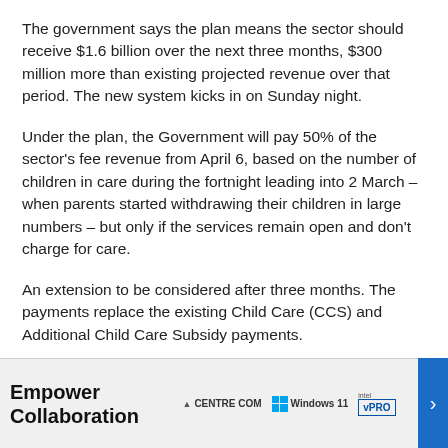The government says the plan means the sector should receive $1.6 billion over the next three months, $300 million more than existing projected revenue over that period. The new system kicks in on Sunday night.
Under the plan, the Government will pay 50% of the sector's fee revenue from April 6, based on the number of children in care during the fortnight leading into 2 March – when parents started withdrawing their children in large numbers – but only if the services remain open and don't charge for care.
An extension to be considered after three months. The payments replace the existing Child Care (CCS) and Additional Child Care Subsidy payments.
Education Minister Dan Tehan said the package would ensure ... at suppor...
[Figure (other): Advertisement overlay: Empower Collaboration – Centre Com, Windows 11, Intel vPRO banner ad]